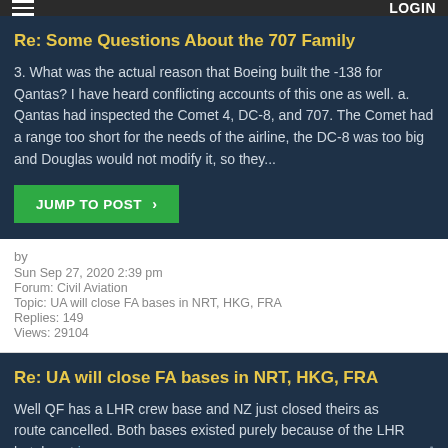LOGIN
Re: Some Questions About the 707 Family
3. What was the actual reason that Boeing built the -138 for Qantas? I have heard conflicting accounts of this one as well. a. Qantas had inspected the Comet 4, DC-8, and 707. The Comet had a range too short for the needs of the airline, the DC-8 was too big and Douglas would not modify it, so they...
JUMP TO POST >
by
Sun Sep 27, 2020 2:39 pm
Forum: Civil Aviation
Topic: UA will close FA bases in NRT, HKG, FRA
Replies: 149
Views: 29104
Re: UA will close FA bases in NRT, HKG, FRA
Well QF has a LHR crew base and NZ just closed theirs as route cancelled. Both bases existed purely because of the LHR hotel cost issue- and yes it was cheaper to pay local LON admin staff. Are hotels cheaper- normally yes, but LON is the exception. Another unique LON issue is many hotels don't wan...